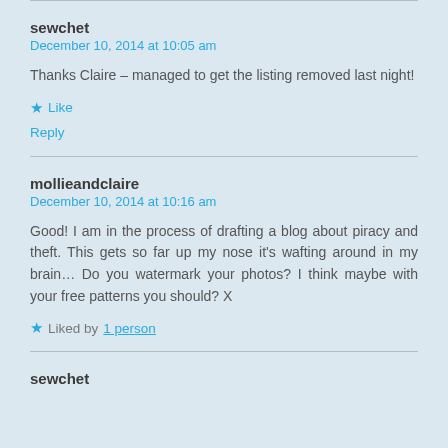sewchet
December 10, 2014 at 10:05 am
Thanks Claire – managed to get the listing removed last night!
Like
Reply
mollieandclaire
December 10, 2014 at 10:16 am
Good! I am in the process of drafting a blog about piracy and theft. This gets so far up my nose it's wafting around in my brain… Do you watermark your photos? I think maybe with your free patterns you should? X
Liked by 1 person
sewchet